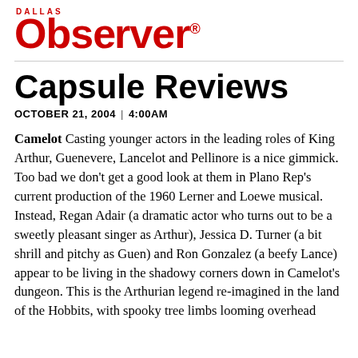Dallas Observer
Capsule Reviews
OCTOBER 21, 2004 | 4:00AM
Camelot Casting younger actors in the leading roles of King Arthur, Guenevere, Lancelot and Pellinore is a nice gimmick. Too bad we don't get a good look at them in Plano Rep's current production of the 1960 Lerner and Loewe musical. Instead, Regan Adair (a dramatic actor who turns out to be a sweetly pleasant singer as Arthur), Jessica D. Turner (a bit shrill and pitchy as Guen) and Ron Gonzalez (a beefy Lance) appear to be living in the shadowy corners down in Camelot's dungeon. This is the Arthurian legend re-imagined in the land of the Hobbits, with spooky tree limbs looming overhead